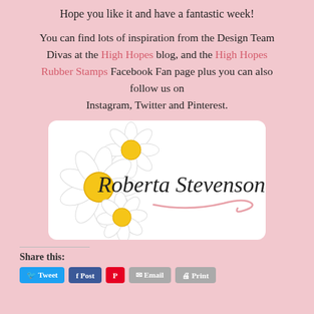Hope you like it and have a fantastic week!
You can find lots of inspiration from the Design Team Divas at the High Hopes blog, and the High Hopes Rubber Stamps Facebook Fan page plus you can also follow us on Instagram, Twitter and Pinterest.
[Figure (illustration): Signature card with white daisy flowers and cursive text reading 'Roberta Stevenson' with a pink swirl decoration, on a white rounded rectangle background.]
Share this: